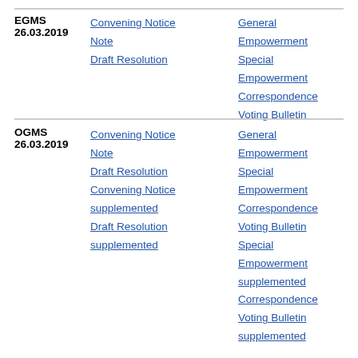| Meeting | Documents (Column 1) | Documents (Column 2) |
| --- | --- | --- |
| EGMS 26.03.2019 | Convening Notice
Note
Draft Resolution | General Empowerment
Special Empowerment
Correspondence Voting Bulletin |
| OGMS 26.03.2019 | Convening Notice
Note
Draft Resolution
Convening Notice supplemented
Draft Resolution supplemented | General Empowerment
Special Empowerment
Correspondence Voting Bulletin
Special Empowerment supplemented
Correspondence Voting Bulletin supplemented |